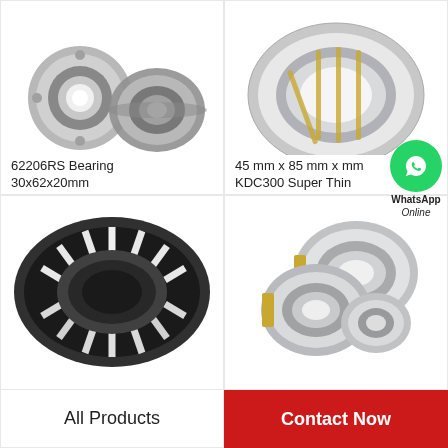[Figure (photo): Two steel ball bearings / insert bearings (62206RS type), one showing the inner race, one showing the housing/outer shell, on white background]
62206RS Bearing 30x62x20mm
[Figure (photo): Large steel angular contact / cylindrical roller bearing with brass cage, partially cut to show internal structure, on white background]
45 mm x 85 mm x mm KDC300 Super Thin
[Figure (photo): Dark-colored needle roller bearing / tapered roller bearing without outer ring, showing cylindrical rollers and cage, on white background]
All Products
[Figure (photo): Several small ball bearings stacked / scattered, showing outer and inner rings, on white background]
Contact Now